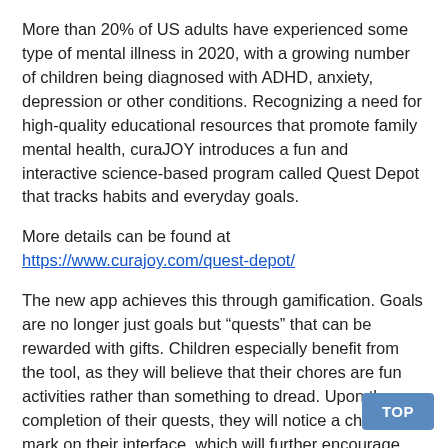More than 20% of US adults have experienced some type of mental illness in 2020, with a growing number of children being diagnosed with ADHD, anxiety, depression or other conditions. Recognizing a need for high-quality educational resources that promote family mental health, curaJOY introduces a fun and interactive science-based program called Quest Depot that tracks habits and everyday goals.
More details can be found at https://www.curajoy.com/quest-depot/
The new app achieves this through gamification. Goals are no longer just goals but “quests” that can be rewarded with gifts. Children especially benefit from the tool, as they will believe that their chores are fun activities rather than something to dread. Upon the completion of their quests, they will notice a check-mark on their interface, which will further encourage them to complete more tasks.
Quest Depot is not merely a habit and goal tracker, however. curaJOY explains that its end-to-end solution integrates goal